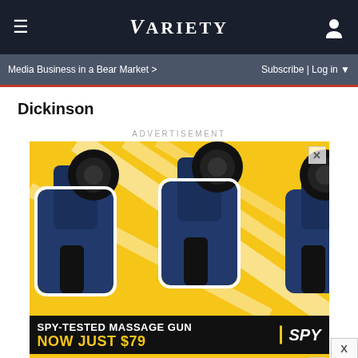≡  VARIETY  👤
Media Business in a Bear Market >   Subscribe | Log in ▼
Dickinson
ADVERTISEMENT
[Figure (photo): Advertisement showing massage guns on yellow background with text SPY-TESTED MASSAGE GUN NOW JUST $79, SPY logo, and a second banner BOGO BLINK MINIS GET YOURS NOW]